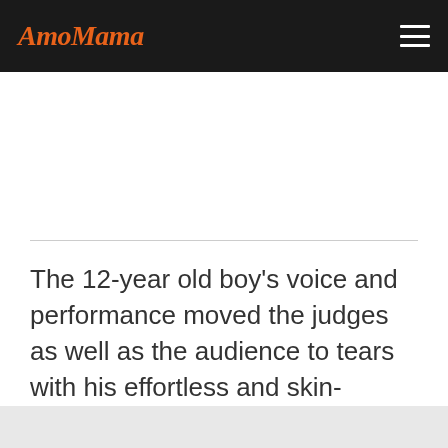AmoMama
The 12-year old boy's voice and performance moved the judges as well as the audience to tears with his effortless and skin-tingling rendition of Sara Bareilles' “She used to be mine.”